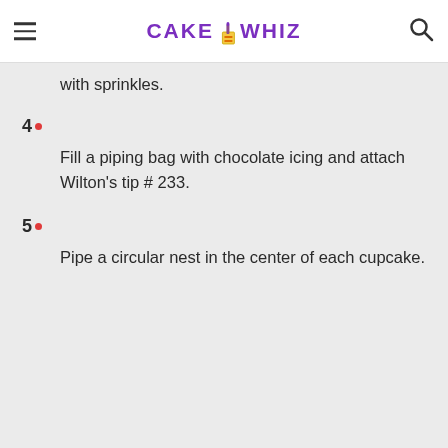CAKE WHIZ
with sprinkles.
4. Fill a piping bag with chocolate icing and attach Wilton's tip # 233.
5. Pipe a circular nest in the center of each cupcake.